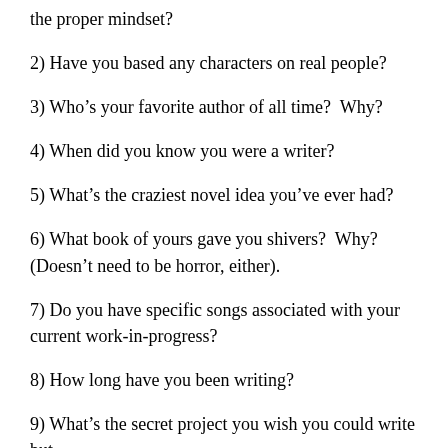the proper mindset?
2) Have you based any characters on real people?
3) Who’s your favorite author of all time?  Why?
4) When did you know you were a writer?
5) What’s the craziest novel idea you’ve ever had?
6) What book of yours gave you shivers?  Why? (Doesn’t need to be horror, either).
7) Do you have specific songs associated with your current work-in-progress?
8) How long have you been writing?
9) What’s the secret project you wish you could write but